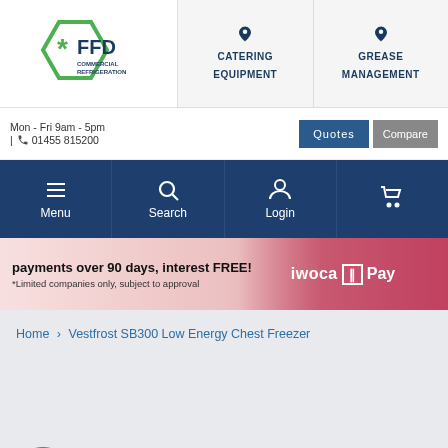FFD Commercial Refrigeration | Catering Equipment | Grease Management
Mon - Fri 9am - 5pm | 01455 815200
Quotes  Compare
Menu  Search  Login  Cart
payments over 90 days, interest FREE! *Limited companies only, subject to approval  iwoca Pay
Home > Vestfrost SB300 Low Energy Chest Freezer
Chat offline
Leave us a message